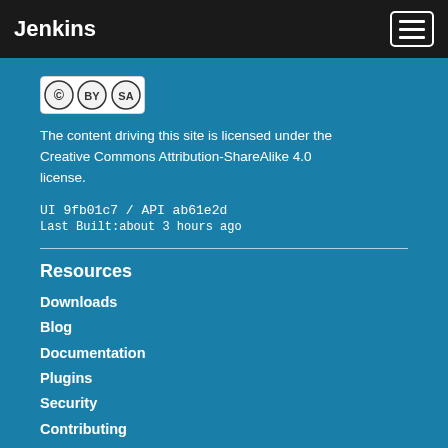Jenkins
[Figure (logo): Creative Commons Attribution-ShareAlike license badge (CC BY SA icons in a rounded rectangle)]
The content driving this site is licensed under the Creative Commons Attribution-ShareAlike 4.0 license.
UI 9fb01c7 / API ab61e2d
Last Built:about 3 hours ago
Resources
Downloads
Blog
Documentation
Plugins
Security
Contributing